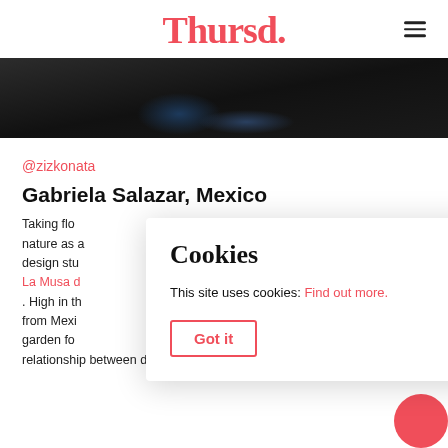Thursd.
[Figure (photo): Dark garden/ground scene photo strip, partially cropped, showing dark soil and plant material]
@zizkonata
Gabriela Salazar, Mexico
Taking flo... nature as a... ral design stu... La Musa d... . High in th... rs from Mexi... garden fo... relationship between design and nature. Gabriela wasn't
Cookies
This site uses cookies: Find out more.
Got it